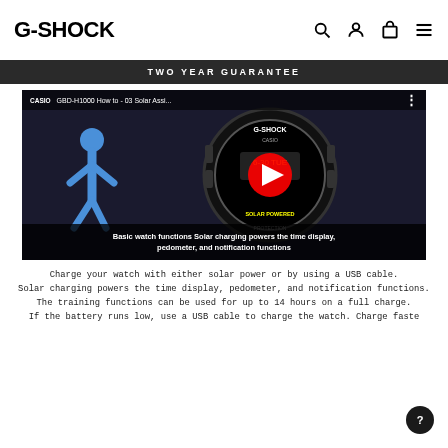G-SHOCK
TWO YEAR GUARANTEE
[Figure (screenshot): YouTube video thumbnail showing G-SHOCK GBD-H1000 How to - 03 Solar Assi... video with a blue stick figure on the left and a G-SHOCK watch in the center, with a red YouTube play button. Caption reads: Basic watch functions Solar charging powers the time display, pedometer, and notification functions]
Charge your watch with either solar power or by using a USB cable.
Solar charging powers the time display, pedometer, and notification functions.
The training functions can be used for up to 14 hours on a full charge.
If the battery runs low, use a USB cable to charge the watch. Charge faste...